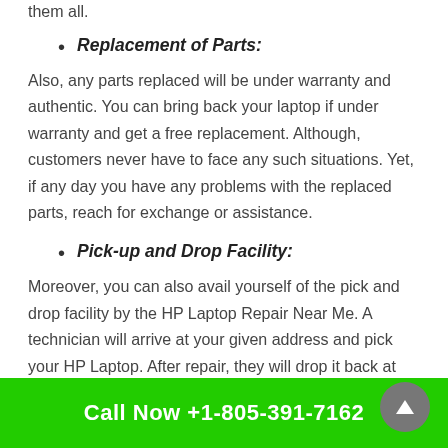them all.
Replacement of Parts:
Also, any parts replaced will be under warranty and authentic. You can bring back your laptop if under warranty and get a free replacement. Although, customers never have to face any such situations. Yet, if any day you have any problems with the replaced parts, reach for exchange or assistance.
Pick-up and Drop Facility:
Moreover, you can also avail yourself of the pick and drop facility by the HP Laptop Repair Near Me. A technician will arrive at your given address and pick your HP Laptop. After repair, they will drop it back at your doorstep. It is easy to
Call Now +1-805-391-7162